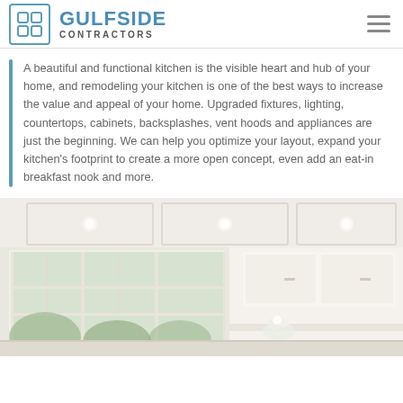GULFSIDE CONTRACTORS
A beautiful and functional kitchen is the visible heart and hub of your home, and remodeling your kitchen is one of the best ways to increase the value and appeal of your home. Upgraded fixtures, lighting, countertops, cabinets, backsplashes, vent hoods and appliances are just the beginning. We can help you optimize your layout, expand your kitchen's footprint to create a more open concept, even add an eat-in breakfast nook and more.
[Figure (photo): Interior photo of a bright, airy kitchen with white coffered ceiling, large French windows with garden views, a pendant chandelier, and white cabinetry with marble countertops and fresh flowers.]